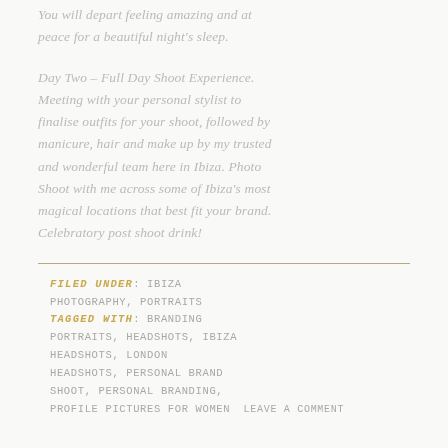You will depart feeling amazing and at peace for a beautiful night's sleep.
Day Two – Full Day Shoot Experience. Meeting with your personal stylist to finalise outfits for your shoot, followed by manicure, hair and make up by my trusted and wonderful team here in Ibiza. Photo Shoot with me across some of Ibiza's most magical locations that best fit your brand. Celebratory post shoot drink!
FILED UNDER: IBIZA PHOTOGRAPHY, PORTRAITS
TAGGED WITH: BRANDING PORTRAITS, HEADSHOTS, IBIZA HEADSHOTS, LONDON HEADSHOTS, PERSONAL BRAND SHOOT, PERSONAL BRANDING, PROFILE PICTURES FOR WOMEN
LEAVE A COMMENT